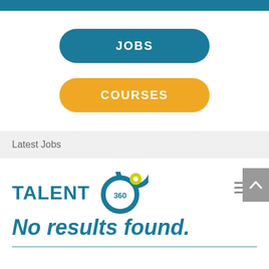JOBS
COURSES
Latest Jobs
[Figure (logo): Talent 360 logo with teal text and circular 360 icon with yellow-green dot]
No results found.